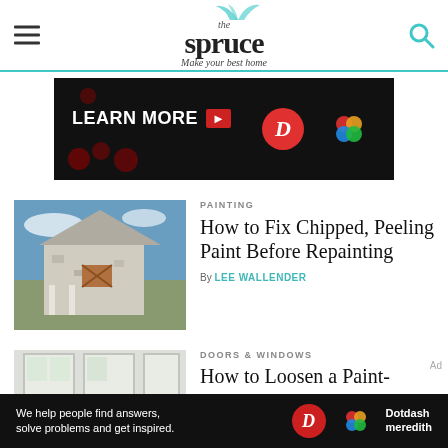the spruce — Make your best home
[Figure (screenshot): Advertisement banner: black background with 'LEARN MORE' text and red arrow, Dotdash and multicolor logos]
[Figure (photo): Rundown old white house with peeling paint, blue sky background]
PAINTING
How to Fix Chipped, Peeling Paint Before Repainting
By LEE WALLENDER
[Figure (photo): Interior window with light coming through, painted window frame]
DOORS & WINDOWS
How to Loosen a Paint-
[Figure (screenshot): Bottom advertisement: black background, 'We help people find answers, solve problems and get inspired.' with Dotdash Meredith logo]